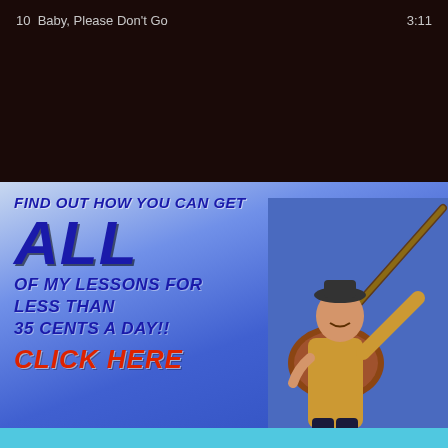10  Baby, Please Don't Go    3:11
[Figure (photo): Dark black/brown background area representing a music player screen]
[Figure (photo): Advertisement banner with blue gradient background and a guitar player photo on the right. Text reads: FIND OUT HOW YOU CAN GET ALL OF MY LESSONS FOR LESS THAN 35 CENTS A DAY!! CLICK HERE]
[Figure (photo): Partial teal/cyan banner at the bottom, partially cut off]